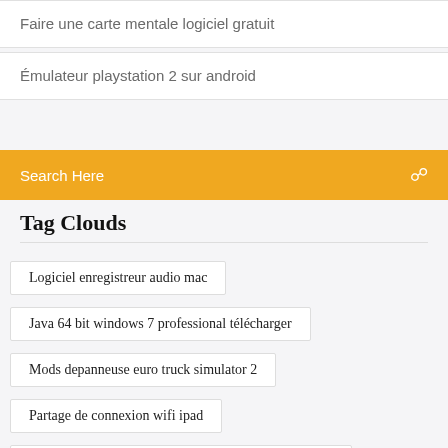Faire une carte mentale logiciel gratuit
Émulateur playstation 2 sur android
Search Here
Tag Clouds
Logiciel enregistreur audio mac
Java 64 bit windows 7 professional télécharger
Mods depanneuse euro truck simulator 2
Partage de connexion wifi ipad
Age of mythology tale of the dragon patch télécharger